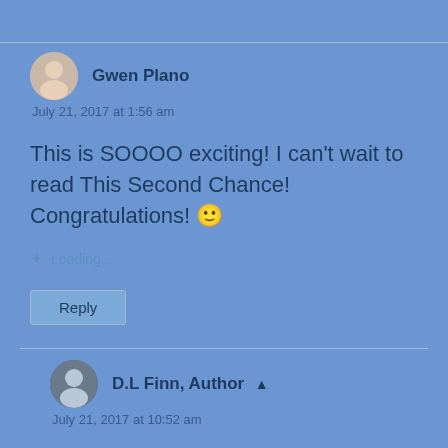Gwen Plano
July 21, 2017 at 1:56 am
This is SOOOO exciting! I can't wait to read This Second Chance! Congratulations! 🙂
Loading...
Reply
D.L Finn, Author
July 21, 2017 at 10:52 am